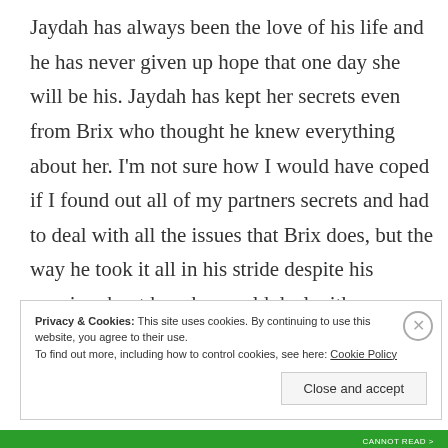Jaydah has always been the love of his life and he has never given up hope that one day she will be his. Jaydah has kept her secrets even from Brix who thought he knew everything about her. I'm not sure how I would have coped if I found out all of my partners secrets and had to deal with all the issues that Brix does, but the way he took it all in his stride despite his worries about how he would deal with everything was fabulous and truly showed his love for Jaydah.
Privacy & Cookies: This site uses cookies. By continuing to use this website, you agree to their use. To find out more, including how to control cookies, see here: Cookie Policy